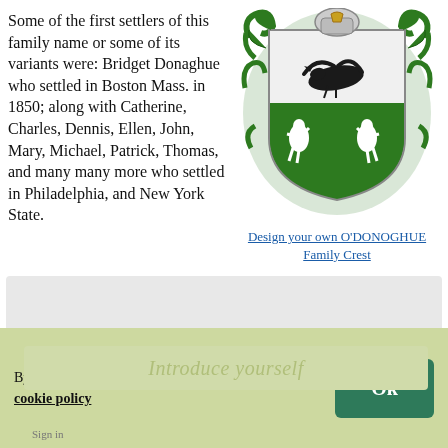Some of the first settlers of this family name or some of its variants were: Bridget Donaghue who settled in Boston Mass. in 1850; along with Catherine, Charles, Dennis, Ellen, John, Mary, Michael, Patrick, Thomas, and many many more who settled in Philadelphia, and New York State.
[Figure (illustration): O'DONOGHUE family crest/coat of arms: green shield with black bird (crow/raven) on white upper half and two white rearing horses on green lower half, with decorative green and white scrollwork and a knight's helmet with harp at top]
Design your own O'DONOGHUE Family Crest
By using our site we assume you are ok with our cookie policy